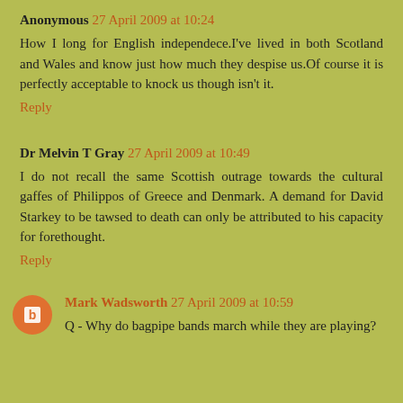Anonymous 27 April 2009 at 10:24
How I long for English independece.I've lived in both Scotland and Wales and know just how much they despise us.Of course it is perfectly acceptable to knock us though isn't it.
Reply
Dr Melvin T Gray 27 April 2009 at 10:49
I do not recall the same Scottish outrage towards the cultural gaffes of Philippos of Greece and Denmark. A demand for David Starkey to be tawsed to death can only be attributed to his capacity for forethought.
Reply
Mark Wadsworth 27 April 2009 at 10:59
Q - Why do bagpipe bands march while they are playing?